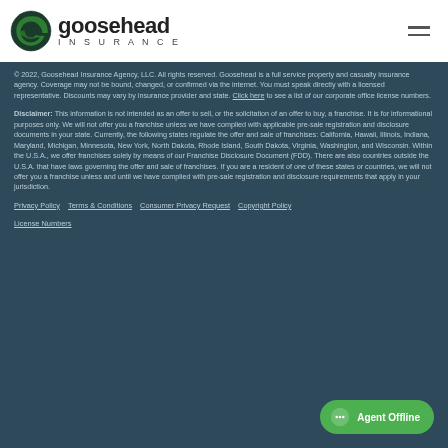[Figure (logo): Goosehead Insurance logo with circular G emblem and wordmark]
© 2022, Goosehead Insurance Agency, LLC. All rights reserved. Goosehead is a full service property and casualty insurance agency. Coverage may not be bound, changed, or confirmed via the internet. You must speak directly with a licensed representative. Discounts may vary by insurance provider and state. Click here to see a list of our corporate office license numbers.
Disclaimer: This information is not intended as an offer to sell, or the solicitation of an offer to buy, a franchise. It is for informational purposes only. We will not offer you a franchise unless we have complied with applicable pre-sale registration and disclosure documents in your state. Currently, the following states regulate the offer and sale of franchises: California, Hawaii, Illinois, Indiana, Maryland, Michigan, Minnesota, New York, North Dakota, Rhode Island, South Dakota, Virginia, Washington, and Wisconsin. Within the U.S.A., we offer franchises solely by means of our Franchise Disclosure Document (FDD). There are also countries outside the U.S.A. that have laws governing the offer and sale of franchises. If you are a resident of one of these states or countries, we will not offer you a franchise unless and until we have complied with pre-sale registration and disclosure requirements that apply in your jurisdiction.
Privacy Policy | Terms & Conditions | Consumer Privacy Request | Copyright Policy | License Numbers